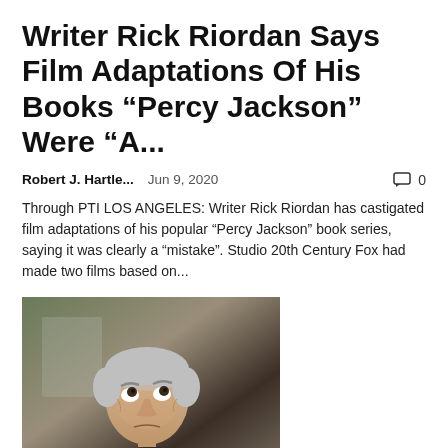Writer Rick Riordan Says Film Adaptations Of His Books “Percy Jackson” Were “A...
Robert J. Hartle...   Jun 9, 2020   💬 0
Through PTI LOS ANGELES: Writer Rick Riordan has castigated film adaptations of his popular "Percy Jackson" book series, saying it was clearly a "mistake". Studio 20th Century Fox had made two films based on...
[Figure (photo): Photo of an older man with grey hair looking upward, wearing a dark jacket]
Favorites: TV adaptations to